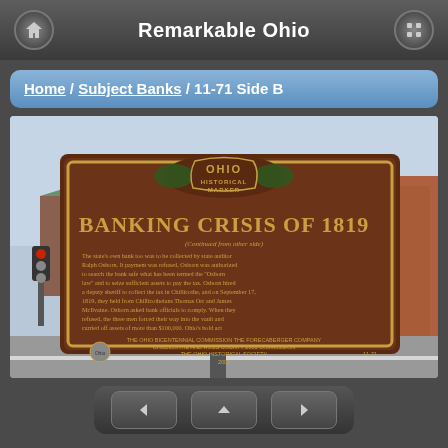Remarkable Ohio
Home / Subject Banks / 11-71 Side B
[Figure (photo): Photograph of an Ohio Historical Marker for 'Banking Crisis of 1819' (marker 11-71), a large brown metal sign with gold lettering mounted on a post in an urban setting with a brick building and street visible in the background.]